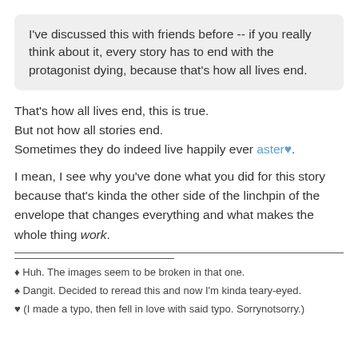I've discussed this with friends before -- if you really think about it, every story has to end with the protagonist dying, because that's how all lives end.
That's how all lives end, this is true.
But not how all stories end.
Sometimes they do indeed live happily ever aster♥.
I mean, I see why you've done what you did for this story because that's kinda the other side of the linchpin of the envelope that changes everything and what makes the whole thing work.
♦ Huh. The images seem to be broken in that one.
♠ Dangit. Decided to reread this and now I'm kinda teary-eyed.
♥ (I made a typo, then fell in love with said typo. Sorrynotsorry.)